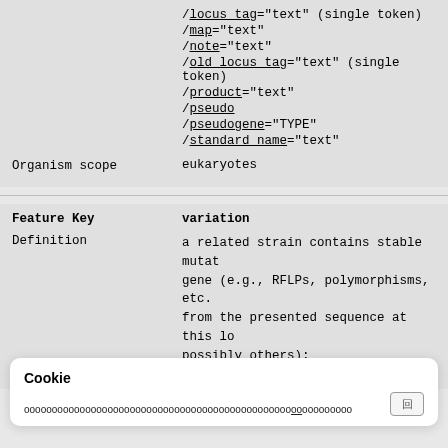/locus_tag="text" (single token)
/map="text"
/note="text"
/old_locus_tag="text" (single token)
/product="text"
/pseudo
/pseudogene="TYPE"
/standard_name="text"
Organism scope    eukaryotes
| Feature Key | variation |
| --- | --- |
| Definition | a related strain contains stable mutat gene (e.g., RFLPs, polymorphisms, etc. from the presented sequence at this lo possibly others); |
| Optional qualifiers | /allele="text" |
|  | /frequency="text" |